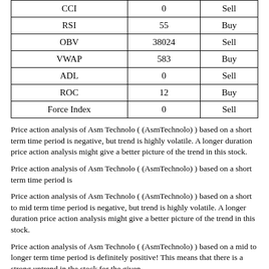|  |  |  |
| --- | --- | --- |
| CCI | 0 | Sell |
| RSI | 55 | Buy |
| OBV | 38024 | Sell |
| VWAP | 583 | Buy |
| ADL | 0 | Sell |
| ROC | 12 | Buy |
| Force Index | 0 | Sell |
Price action analysis of Asm Technolo ( (AsmTechnolo) ) based on a short term time period is negative, but trend is highly volatile. A longer duration price action analysis might give a better picture of the trend in this stock.
Price action analysis of Asm Technolo ( (AsmTechnolo) ) based on a short term time period is
Price action analysis of Asm Technolo ( (AsmTechnolo) ) based on a short to mid term time period is negative, but trend is highly volatile. A longer duration price action analysis might give a better picture of the trend in this stock.
Price action analysis of Asm Technolo ( (AsmTechnolo) ) based on a mid to longer term time period is definitely positive! This means that there is a strong uptrend in the stock for the given